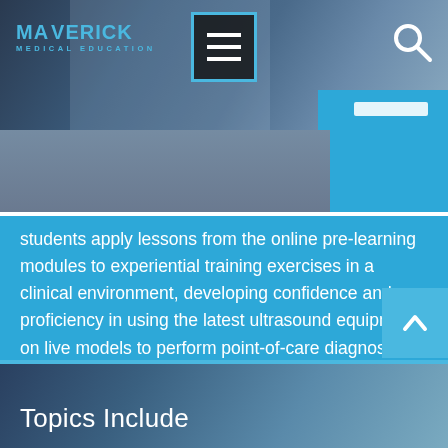[Figure (screenshot): Maverick Medical Education website header with logo, hamburger menu button with blue border, and search icon on a dark photo background]
students apply lessons from the online pre-learning modules to experiential training exercises in a clinical environment, developing confidence and proficiency in using the latest ultrasound equipment on live models to perform point-of-care diagnoses. The flipped classroom model ensures our students get the repetitions they need to attain true POCUS proficiency.
Topics Include